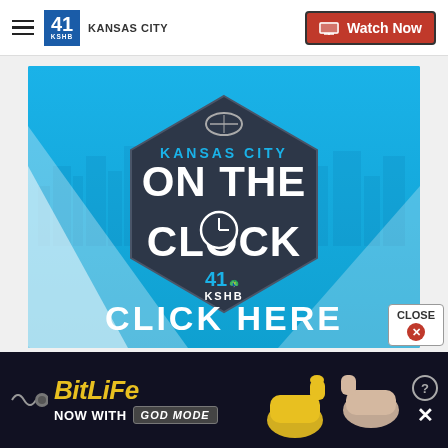41 KSHB KANSAS CITY | Watch Now
[Figure (screenshot): KSHB 41 Kansas City 'On The Clock' promotional banner with hexagonal badge logo, blue background with city skyline silhouette, and 'CLICK HERE' call to action]
[Figure (screenshot): BitLife advertisement banner: 'BitLife NOW WITH GOD MODE' with cartoon hand graphics on dark background]